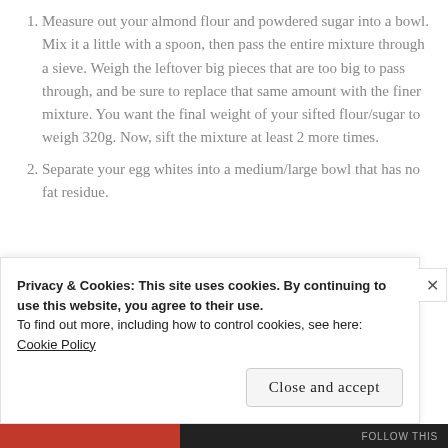Measure out your almond flour and powdered sugar into a bowl. Mix it a little with a spoon, then pass the entire mixture through a sieve. Weigh the leftover big pieces that are too big to pass through, and be sure to replace that same amount with the finer mixture. You want the final weight of your sifted flour/sugar to weigh 320g. Now, sift the mixture at least 2 more times.
Separate your egg whites into a medium/large bowl that has no fat residue.
Privacy & Cookies: This site uses cookies. By continuing to use this website, you agree to their use. To find out more, including how to control cookies, see here: Cookie Policy